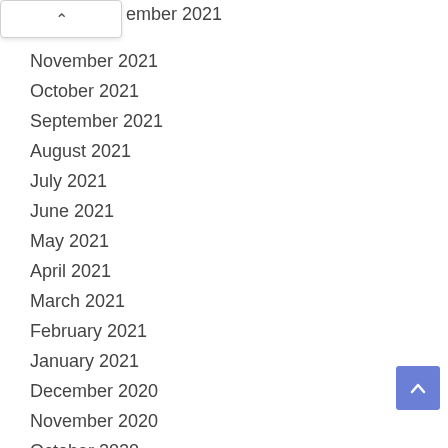ember 2021
November 2021
October 2021
September 2021
August 2021
July 2021
June 2021
May 2021
April 2021
March 2021
February 2021
January 2021
December 2020
November 2020
October 2020
September 2020